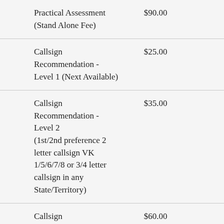| Description | Fee |
| --- | --- |
| Practical Assessment (Stand Alone Fee) | $90.00 |
| Callsign Recommendation - Level 1 (Next Available) | $25.00 |
| Callsign Recommendation - Level 2 (1st/2nd preference 2 letter callsign VK 1/5/6/7/8 or 3/4 letter callsign in any State/Territory) | $35.00 |
| Callsign Recommendation - Level 3 | $60.00 |